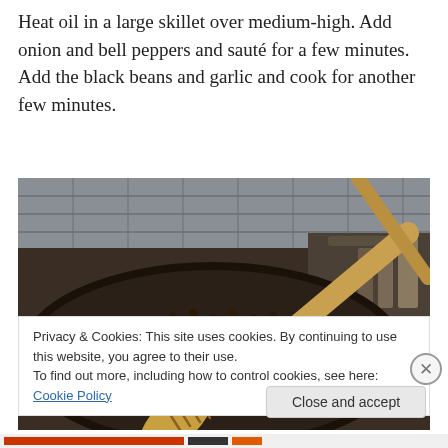Heat oil in a large skillet over medium-high. Add onion and bell peppers and sauté for a few minutes. Add the black beans and garlic and cook for another few minutes.
[Figure (photo): A dark skillet on a stovetop containing black beans, diced red bell peppers, and white onion pieces being stirred with a wooden spatula.]
Privacy & Cookies: This site uses cookies. By continuing to use this website, you agree to their use.
To find out more, including how to control cookies, see here: Cookie Policy